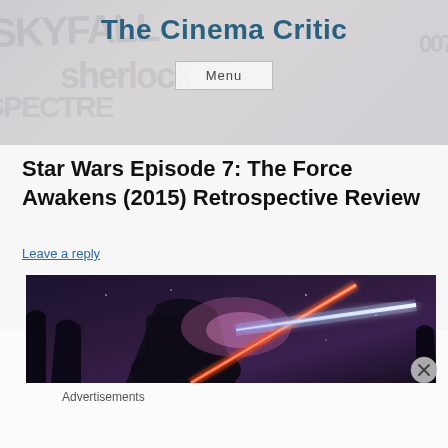The Cinema Critic
Menu
Star Wars Episode 7: The Force Awakens (2015) Retrospective Review
Leave a reply
[Figure (photo): Movie still from Star Wars Episode 7: The Force Awakens showing lightsaber duel scene with red and blue lightsabers clashing in a dark snowy forest]
Advertisements